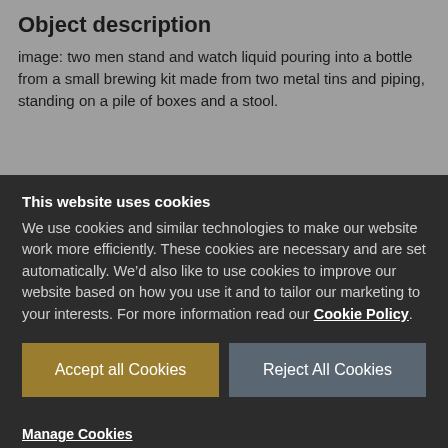Object description
image: two men stand and watch liquid pouring into a bottle from a small brewing kit made from two metal tins and piping, standing on a pile of boxes and a stool.
This website uses cookies
We use cookies and similar technologies to make our website work more efficiently. These cookies are necessary and are set automatically. We’d also like to use cookies to improve our website based on how you use it and to tailor our marketing to your interests. For more information read our Cookie Policy.
Accept all Cookies
Reject All Cookies
Manage Cookies